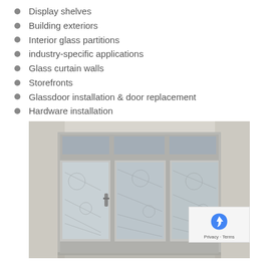Display shelves
Building exteriors
Interior glass partitions
industry-specific applications
Glass curtain walls
Storefronts
Glassdoor installation & door replacement
Hardware installation
[Figure (photo): A commercial glass door installation unit showing aluminum-framed glass panels with patterned/frosted glass, including a door with hardware on the left side and fixed panels on the right, set against a light interior background.]